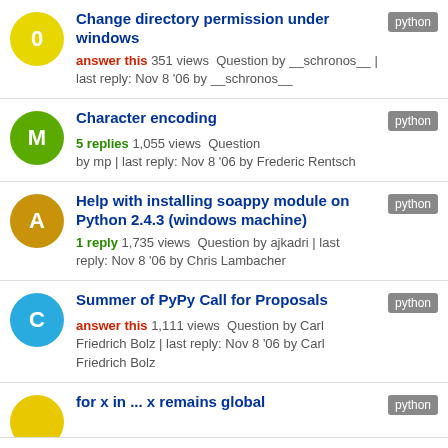Change directory permission under windows | python | answer this 351 views Question by __schronos__ | last reply: Nov 8 '06 by __schronos__
Character encoding | python | 5 replies 1,055 views Question by mp | last reply: Nov 8 '06 by Frederic Rentsch
Help with installing soappy module on Python 2.4.3 (windows machine) | python | 1 reply 1,735 views Question by ajkadri | last reply: Nov 8 '06 by Chris Lambacher
Summer of PyPy Call for Proposals | python | answer this 1,111 views Question by Carl Friedrich Bolz | last reply: Nov 8 '06 by Carl Friedrich Bolz
for x in ... x remains global | python | (partial)